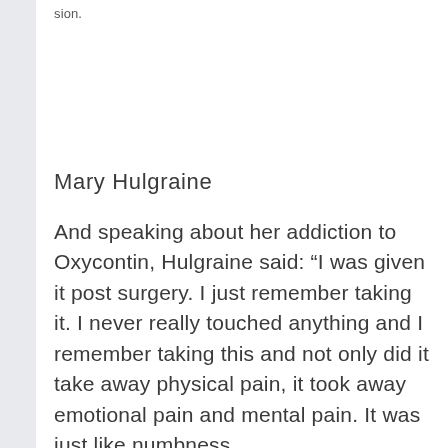sion.
Mary Hulgraine
And speaking about her addiction to Oxycontin, Hulgraine said: “I was given it post surgery. I just remember taking it. I never really touched anything and I remember taking this and not only did it take away physical pain, it took away emotional pain and mental pain. It was just like numbness.
“My head always had a lot of noise going on and all that disappeared when I took the painkillers.